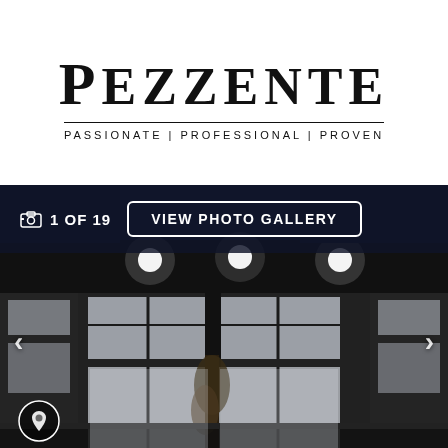[Figure (logo): Pezzente real estate logo with tagline: PASSIONATE | PROFESSIONAL | PROVEN]
[Figure (photo): Night-time exterior photo of a modern two-storey residential property with large black-framed windows, illuminated interior, and a dark facade. Overlay shows photo gallery navigation: 1 OF 19 and VIEW PHOTO GALLERY button.]